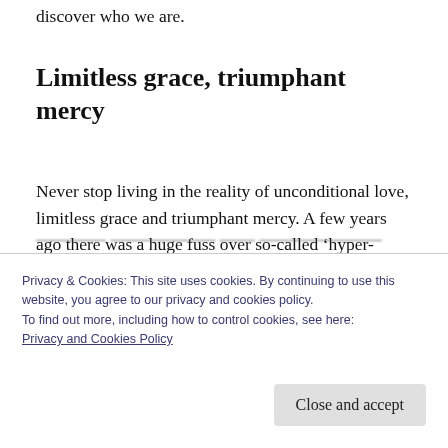discover who we are.
Limitless grace, triumphant mercy
Never stop living in the reality of unconditional love, limitless grace and triumphant mercy. A few years ago there was a huge fuss over so-called ‘hyper-grace’. Well, His grace goes way beyond ‘hyper’: it is limitless! There is nothing
Privacy & Cookies: This site uses cookies. By continuing to use this website, you agree to our privacy and cookies policy. To find out more, including how to control cookies, see here: Privacy and Cookies Policy
Close and accept